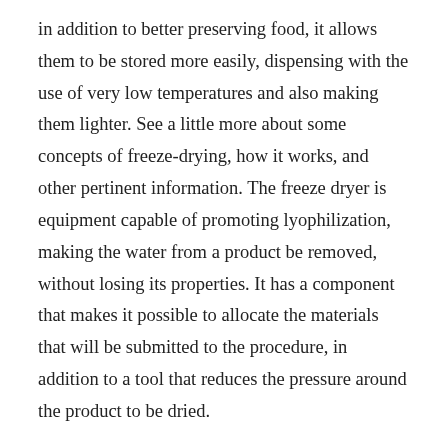in addition to better preserving food, it allows them to be stored more easily, dispensing with the use of very low temperatures and also making them lighter. See a little more about some concepts of freeze-drying, how it works, and other pertinent information. The freeze dryer is equipment capable of promoting lyophilization, making the water from a product be removed, without losing its properties. It has a component that makes it possible to allocate the materials that will be submitted to the procedure, in addition to a tool that reduces the pressure around the product to be dried.
The freeze dryer is essential equipment to efficiently dehydrate a sample or product without losing its properties and nutrients. It is widely used in different areas and can have different types that are specific for...